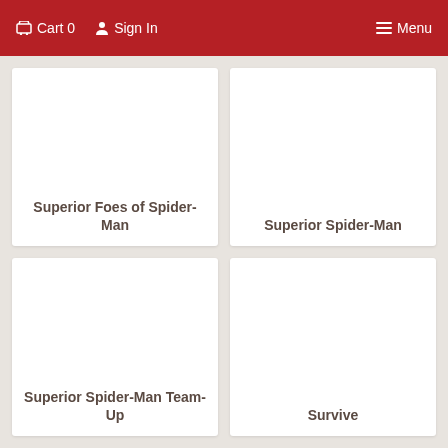Cart 0  Sign In  Menu
Superior Foes of Spider-Man
Superior Spider-Man
Superior Spider-Man Team-Up
Survive